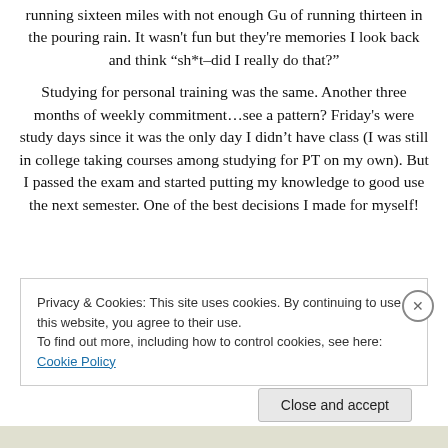running sixteen miles with not enough Gu of running thirteen in the pouring rain. It wasn't fun but they're memories I look back and think "sh*t–did I really do that?"
Studying for personal training was the same. Another three months of weekly commitment…see a pattern? Friday's were study days since it was the only day I didn't have class (I was still in college taking courses among studying for PT on my own). But I passed the exam and started putting my knowledge to good use the next semester. One of the best decisions I made for myself!
Privacy & Cookies: This site uses cookies. By continuing to use this website, you agree to their use.
To find out more, including how to control cookies, see here: Cookie Policy
Close and accept